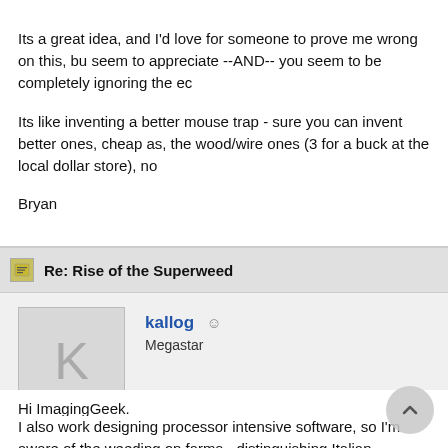Its a great idea, and I'd love for someone to prove me wrong on this, but you don't seem to appreciate --AND-- you seem to be completely ignoring the ec
Its like inventing a better mouse trap - sure you can invent better ones, but as long as they aren't cheap as, the wood/wire ones (3 for a buck at the local dollar store), no
Bryan
Re: Rise of the Superweed
[Figure (other): User avatar placeholder with letter K]
kallog  Megastar
Hi ImagingGeek.
I also work designing processor intensive software, so I'm aware of the weeding on farms - distinguishing Italian ryegrass from perennial ryegr idea excites me. Sure it won't happen straight away, but oneday I hope